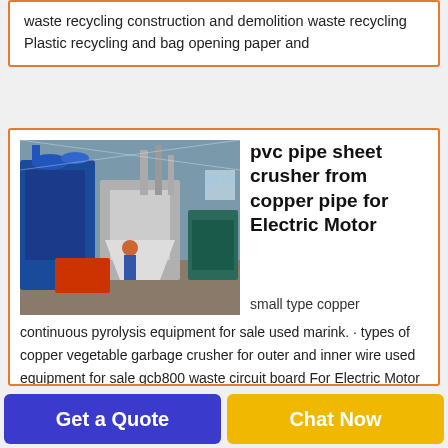waste recycling construction and demolition waste recycling Plastic recycling and bag opening paper and
[Figure (photo): Industrial machinery on a factory floor — large blue machine with pipes and hoppers, workers visible, industrial shed environment.]
pvc pipe sheet crusher from copper pipe for Electric Motor
small type copper continuous pyrolysis equipment for sale used marink. · types of copper vegetable garbage crusher for outer and inner wire used equipment for sale gcb800 waste circuit board For Electric Motor Recycling diy scip panels wet-type copper wire for cable wire crushing plant good after-
Get a Quote
Chat Now